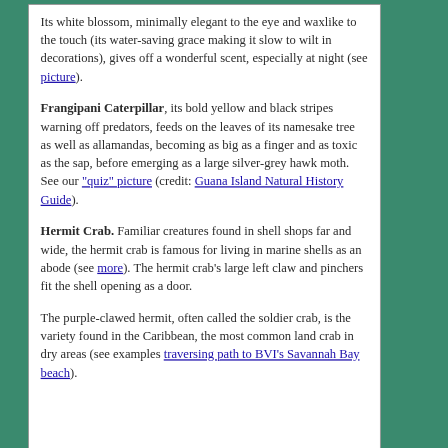Its white blossom, minimally elegant to the eye and waxlike to the touch (its water-saving grace making it slow to wilt in decorations), gives off a wonderful scent, especially at night (see picture).
Frangipani Caterpillar, its bold yellow and black stripes warning off predators, feeds on the leaves of its namesake tree as well as allamandas, becoming as big as a finger and as toxic as the sap, before emerging as a large silver-grey hawk moth. See our "quiz" picture (credit: Guana Island Natural History Guide).
Hermit Crab. Familiar creatures found in shell shops far and wide, the hermit crab is famous for living in marine shells as an abode (see more). The hermit crab's large left claw and pinchers fit the shell opening as a door.
The purple-clawed hermit, often called the soldier crab, is the variety found in the Caribbean, the most common land crab in dry areas (see examples traversing path to BVI's Savannah Bay beach).